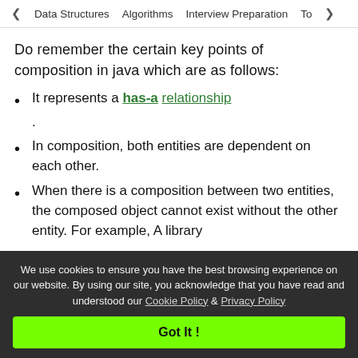< Data Structures  Algorithms  Interview Preparation  To>
Do remember the certain key points of composition in java which are as follows:
It represents a has-a relationship .
In composition, both entities are dependent on each other.
When there is a composition between two entities, the composed object cannot exist without the other entity. For example, A library
We use cookies to ensure you have the best browsing experience on our website. By using our site, you acknowledge that you have read and understood our Cookie Policy & Privacy Policy
Got It !